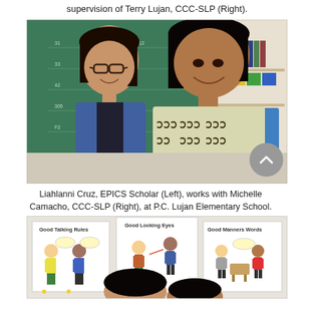supervision of Terry Lujan, CCC-SLP (Right).
[Figure (photo): Two women smiling in a classroom with a green chalkboard behind them. The woman on the left wears glasses and a blue denim jacket. The woman on the right wears a patterned top.]
Liahlanni Cruz, EPICS Scholar (Left), works with Michelle Camacho, CCC-SLP (Right), at P.C. Lujan Elementary School.
[Figure (photo): Classroom scene with educational posters on the wall including 'Good Talking Rules', 'Good Looking Eyes', and 'Good Manners Words'. Two women are partially visible in the foreground.]